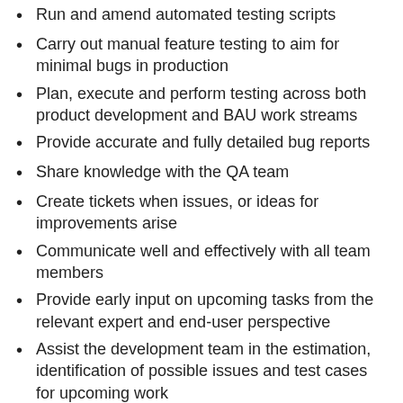Run and amend automated testing scripts
Carry out manual feature testing to aim for minimal bugs in production
Plan, execute and perform testing across both product development and BAU work streams
Provide accurate and fully detailed bug reports
Share knowledge with the QA team
Create tickets when issues, or ideas for improvements arise
Communicate well and effectively with all team members
Provide early input on upcoming tasks from the relevant expert and end-user perspective
Assist the development team in the estimation, identification of possible issues and test cases for upcoming work
Help to achieve Scrum team goals within the Sprint timeframe
Assist in setup and implementation of regression tests, identifying any issues
Run regression testing throughout the Sprint and Release processes